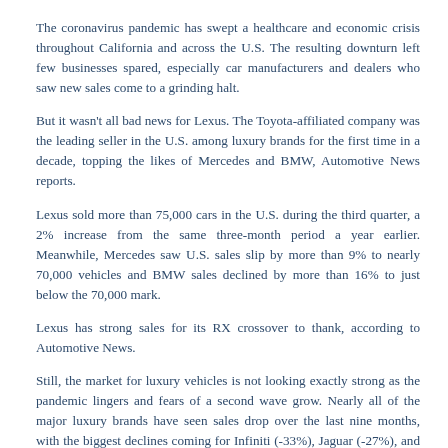The coronavirus pandemic has swept a healthcare and economic crisis throughout California and across the U.S. The resulting downturn left few businesses spared, especially car manufacturers and dealers who saw new sales come to a grinding halt.
But it wasn't all bad news for Lexus. The Toyota-affiliated company was the leading seller in the U.S. among luxury brands for the first time in a decade, topping the likes of Mercedes and BMW, Automotive News reports.
Lexus sold more than 75,000 cars in the U.S. during the third quarter, a 2% increase from the same three-month period a year earlier. Meanwhile, Mercedes saw U.S. sales slip by more than 9% to nearly 70,000 vehicles and BMW sales declined by more than 16% to just below the 70,000 mark.
Lexus has strong sales for its RX crossover to thank, according to Automotive News.
Still, the market for luxury vehicles is not looking exactly strong as the pandemic lingers and fears of a second wave grow. Nearly all of the major luxury brands have seen sales drop over the last nine months, with the biggest declines coming for Infiniti (-33%), Jaguar (-27%), and Cadillac (-25%).